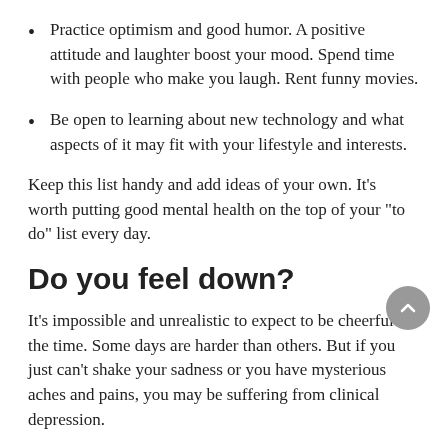Practice optimism and good humor. A positive attitude and laughter boost your mood. Spend time with people who make you laugh. Rent funny movies.
Be open to learning about new technology and what aspects of it may fit with your lifestyle and interests.
Keep this list handy and add ideas of your own. It's worth putting good mental health on the top of your "to do" list every day.
Do you feel down?
It's impossible and unrealistic to expect to be cheerful all the time. Some days are harder than others. But if you just can't shake your sadness or you have mysterious aches and pains, you may be suffering from clinical depression.
Like heart disease and diabetes, clinical depression is an illness that can be treated. Depression may be the result of a chemical imbalance in the brain, heredity, a stressful life change, or